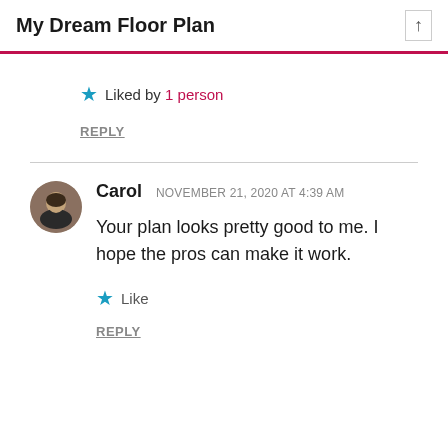My Dream Floor Plan
Liked by 1 person
REPLY
Carol  NOVEMBER 21, 2020 AT 4:39 AM
Your plan looks pretty good to me. I hope the pros can make it work.
Like
REPLY